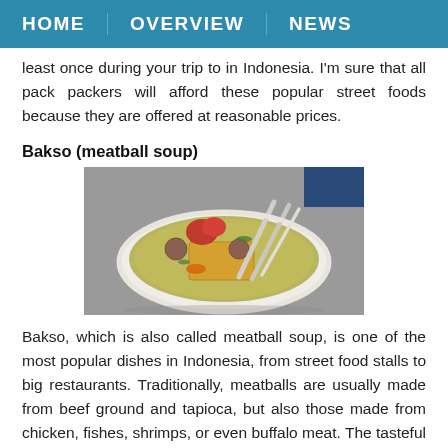HOME  OVERVIEW  NEWS
least once during your trip to in Indonesia. I'm sure that all pack packers will afford these popular street foods because they are offered at reasonable prices.
Bakso (meatball soup)
[Figure (photo): A bowl of Bakso (meatball soup) with meatballs, tofu, broth, and two spoons/chopsticks resting on the rim, photographed from above on a gray surface.]
Bakso, which is also called meatball soup, is one of the most popular dishes in Indonesia, from street food stalls to big restaurants. Traditionally, meatballs are usually made from beef ground and tapioca, but also those made from chicken, fishes, shrimps, or even buffalo meat. The tasteful soup itself is